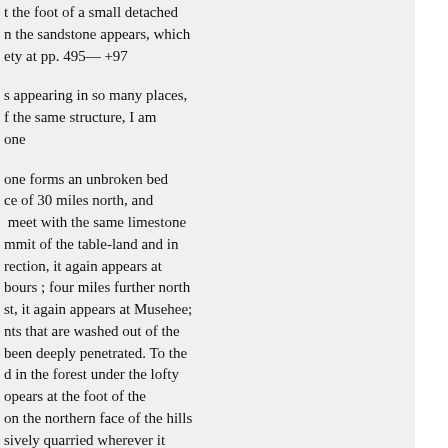t the foot of a small detached n the sandstone appears, which ety at pp. 495— +97
s appearing in so many places, f the same structure, I am one
one forms an unbroken bed ce of 30 miles north, and meet with the same limestone mmit of the table-land and in rection, it again appears at bours ; four miles further north st, it again appears at Musehee; nts that are washed out of the been deeply penetrated. To the d in the forest under the lofty opears at the foot of the on the northern face of the hills sively quarried wherever it rnt for lime and taken down the
ping they would prove useful in for any practical purposes;